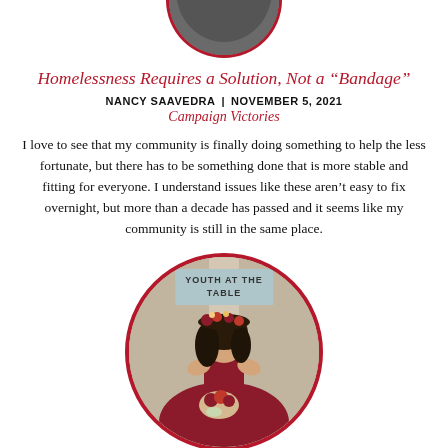[Figure (photo): Circular cropped photo (bottom half visible) of a person, dark background, with dark red circular border]
Homelessness Requires a Solution, Not a “Bandage”
NANCY SAAVEDRA  |  NOVEMBER 5, 2021
Campaign Victories
I love to see that my community is finally doing something to help the less fortunate, but there has to be something done that is more stable and fitting for everyone. I understand issues like these aren’t easy to fix overnight, but more than a decade has passed and it seems like my community is still in the same place.
[Figure (photo): Circular photo of a young woman in a red dress with floral headpiece, holding flowers, sitting outdoors. Badge at top reads YOUTH AT THE TABLE.]